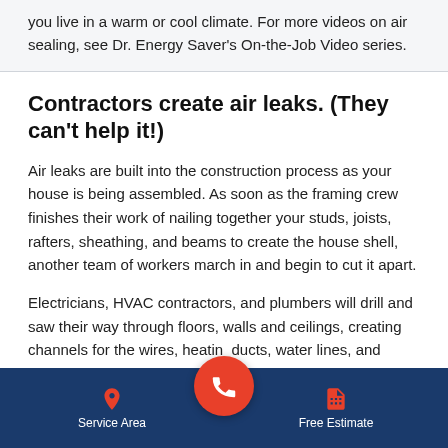you live in a warm or cool climate. For more videos on air sealing, see Dr. Energy Saver's On-the-Job Video series.
Contractors create air leaks. (They can't help it!)
Air leaks are built into the construction process as your house is being assembled. As soon as the framing crew finishes their work of nailing together your studs, joists, rafters, sheathing, and beams to create the house shell, another team of workers march in and begin to cut it apart.
Electricians, HVAC contractors, and plumbers will drill and saw their way through floors, walls and ceilings, creating channels for the wires, heatin ducts, water lines, and
Service Area   Free Estimate